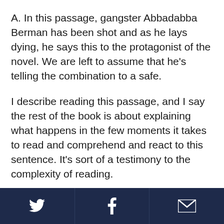A. In this passage, gangster Abbadabba Berman has been shot and as he lays dying, he says this to the protagonist of the novel. We are left to assume that he's telling the combination to a safe.
I describe reading this passage, and I say the rest of the book is about explaining what happens in the few moments it takes to read and comprehend and react to this sentence. It’s sort of a testimony to the complexity of reading.
The epigraph of the book is the same thing – it’s a passage from Nabokov’s “Pale Fire,” in which one character is exhorting another character and saying the reading has become so familiar to us that we
Twitter | Facebook | Email